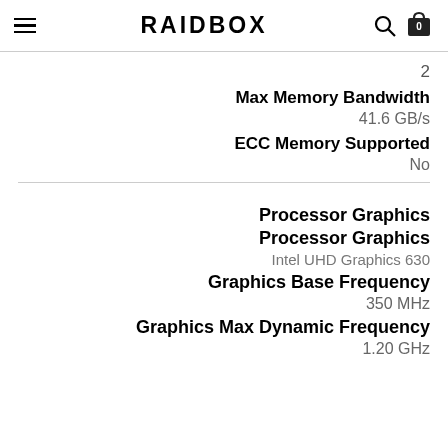RAIDBOX
2
Max Memory Bandwidth
41.6 GB/s
ECC Memory Supported
No
Processor Graphics
Processor Graphics
Intel UHD Graphics 630
Graphics Base Frequency
350 MHz
Graphics Max Dynamic Frequency
1.20 GHz